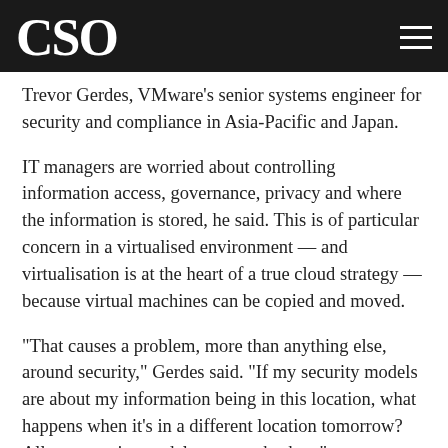CSO
Trevor Gerdes, VMware's senior systems engineer for security and compliance in Asia-Pacific and Japan.
IT managers are worried about controlling information access, governance, privacy and where the information is stored, he said. This is of particular concern in a virtualised environment — and virtualisation is at the heart of a true cloud strategy — because virtual machines can be copied and moved.
"That causes a problem, more than anything else, around security," Gerdes said. "If my security models are about my information being in this location, what happens when it's in a different location tomorrow? All my security models are now broken."
Policies can't be built around a specific IP address, for